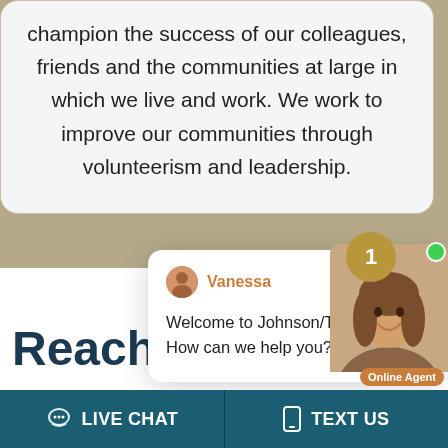champion the success of our colleagues, friends and the communities at large in which we live and work. We work to improve our communities through volunteerism and leadership.
[Figure (screenshot): Chat popup with agent named Vanessa from Johnson/Turner Legal with message: Welcome to Johnson/Turner Legal! How can we help you?]
Welcome to Johnson/Turner Legal! How can we help you?
[Figure (photo): Online agent photo of a woman smiling, with a badge showing 1 new message and Online Agent label]
Reach Our Team
LIVE CHAT
TEXT US